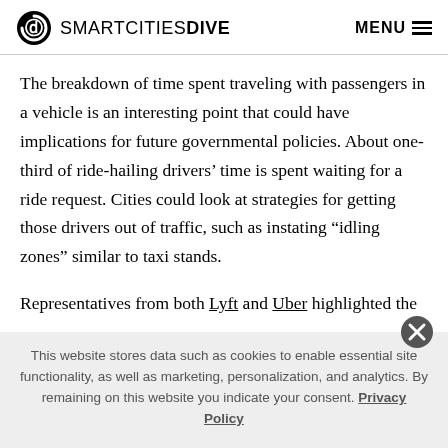SMARTCITIES DIVE   MENU
The breakdown of time spent traveling with passengers in a vehicle is an interesting point that could have implications for future governmental policies. About one-third of ride-hailing drivers’ time is spent waiting for a ride request. Cities could look at strategies for getting those drivers out of traffic, such as instating “idling zones” similar to taxi stands.
Representatives from both Lyft and Uber highlighted the
This website stores data such as cookies to enable essential site functionality, as well as marketing, personalization, and analytics. By remaining on this website you indicate your consent. Privacy Policy